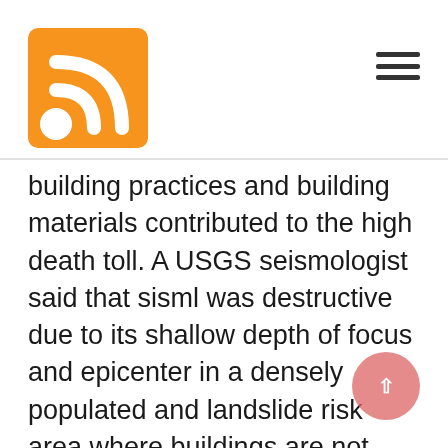RSS feed icon and hamburger menu
building practices and building materials contributed to the high death toll. A USGS seismologist said that sisml was destructive due to its shallow depth of focus and epicenter in a densely populated and landslide risk area where buildings are not designed to withstand ground shaking. The head of a charity organization said the death toll was likely to rise because the earthquake affected a region far from medical facilities and occurred at night when most people slept in their homes. More than 25 villages were nearly wiped out. Schools, hospitals, houses and mosques collapsed. At least 381 of the more than 1,000 deaths were from Pakita. However, it is unclear whether these figures have been confirmed by the government or if there have been more unrecorded deaths. In one village, 17 family members died when their house collapsed, with only one